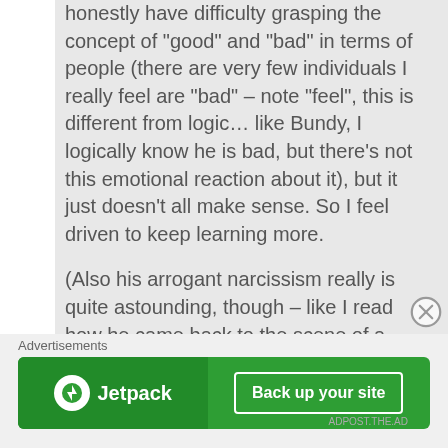honestly have difficulty grasping the concept of "good" and "bad" in terms of people (there are very few individuals I really feel are "bad" – note "feel", this is different from logic… like Bundy, I logically know he is bad, but there's not this emotional reaction about it), but it just doesn't all make sense. So I feel driven to keep learning more.
(Also his arrogant narcissism really is quite astounding, though – like I read how he came back to the scene of a crime, with police officers around, to pick up evidence, and no one saw him! I know a lot of people are usually stunned by the brazen things sociopaths do, but most of them are not as hard as they seem – it all has to do with presenting yourself and image, looking the part and being
Advertisements
[Figure (logo): Jetpack advertisement banner with green background, Jetpack logo on left side and 'Back up your site' button on right side]